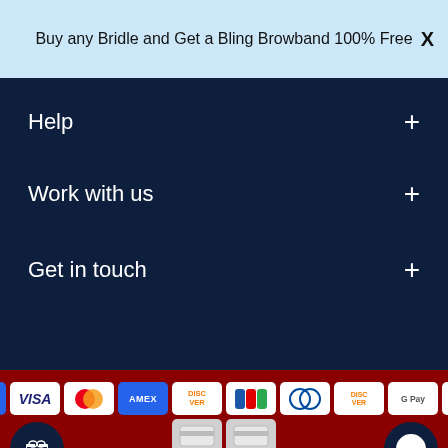Buy any Bridle and Get a Bling Browband 100% Free
Help
Work with us
Get in touch
[Figure (other): Payment method icons: OPay, VISA, Mastercard, AMEX, Discover, JCB, Diners, Discover, Google Pay, Apple Pay, and two generic card icons]
USD
Vegetable Tanned Leather (Advanced Rider) / Havana (...